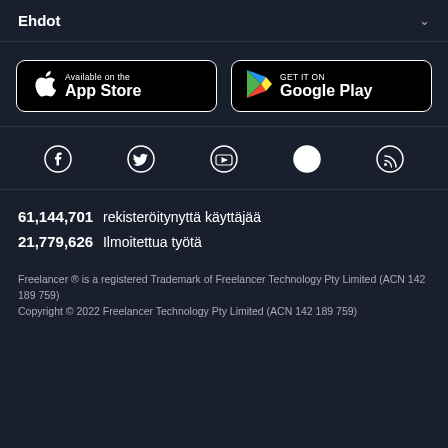Ehdot
[Figure (logo): App Store and Google Play store download buttons]
[Figure (infographic): Social media icons: Facebook, Twitter, YouTube, Instagram, RSS]
61,144,701  rekisteröitynyttä käyttäjää
21,779,626  Ilmoitettua työtä
Freelancer ® is a registered Trademark of Freelancer Technology Pty Limited (ACN 142 189 759)
Copyright © 2022 Freelancer Technology Pty Limited (ACN 142 189 759)